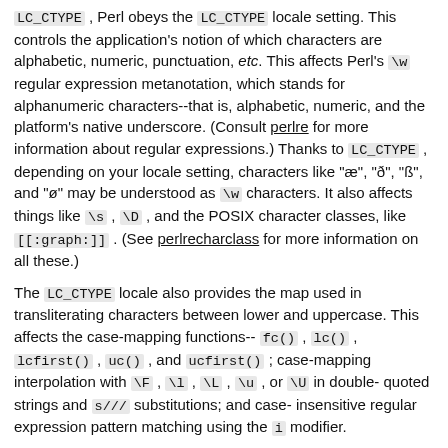LC_CTYPE, Perl obeys the LC_CTYPE locale setting. This controls the application's notion of which characters are alphabetic, numeric, punctuation, etc. This affects Perl's \w regular expression metanotation, which stands for alphanumeric characters--that is, alphabetic, numeric, and the platform's native underscore. (Consult perlre for more information about regular expressions.) Thanks to LC_CTYPE, depending on your locale setting, characters like "æ", "ð", "ß", and "ø" may be understood as \w characters. It also affects things like \s, \D, and the POSIX character classes, like [[:graph:]]. (See perlrecharclass for more information on all these.)
The LC_CTYPE locale also provides the map used in transliterating characters between lower and uppercase. This affects the case-mapping functions-- fc(), lc(), lcfirst(), uc(), and ucfirst(); case-mapping interpolation with \F, \l, \L, \u, or \U in double-quoted strings and s/// substitutions; and case-insensitive regular expression pattern matching using the i modifier.